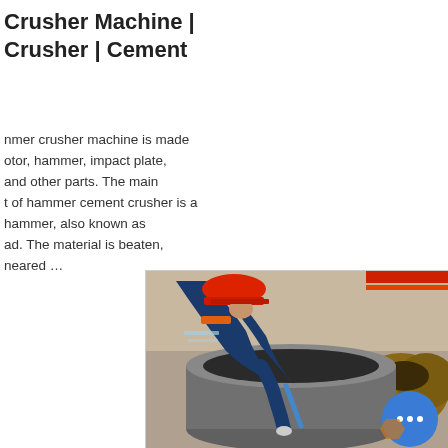Crusher Machine | Crusher | Cement
hammer crusher machine is made rotor, hammer, impact plate, and other parts. The main t of hammer cement crusher is a hammer, also known as ad. The material is beaten, neared ...
[Figure (photo): A worker wearing a red hard hat and blue work uniform leans over a large cylindrical metal crusher component, using a tool inside it. Industrial setting with burlap sacks in background. A blue chat bubble icon overlays the bottom right corner.]